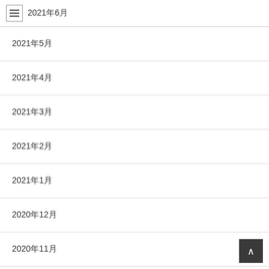2021年6月
2021年5月
2021年4月
2021年3月
2021年2月
2021年1月
2020年12月
2020年11月
2020年10月
2020年9月
2020年8月